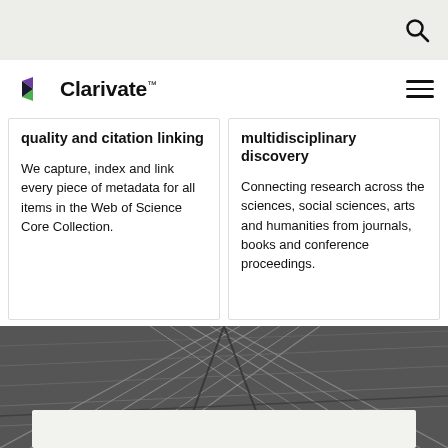Clarivate
quality and citation linking
We capture, index and link every piece of metadata for all items in the Web of Science Core Collection.
multidisciplinary discovery
Connecting research across the sciences, social sciences, arts and humanities from journals, books and conference proceedings.
[Figure (photo): Black and white architectural photo showing a geometric steel and glass dome/grid structure viewed from below]